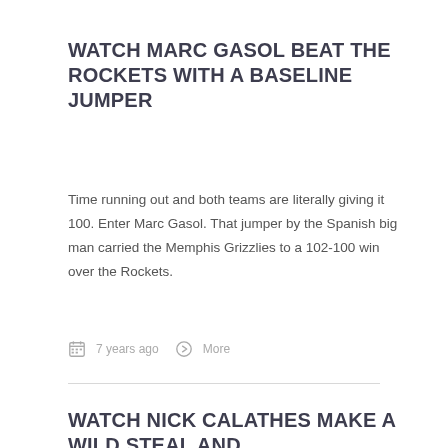WATCH MARC GASOL BEAT THE ROCKETS WITH A BASELINE JUMPER
Time running out and both teams are literally giving it 100. Enter Marc Gasol. That jumper by the Spanish big man carried the Memphis Grizzlies to a 102-100 win over the Rockets.
7 years ago   More
WATCH NICK CALATHES MAKE A WILD STEAL AND